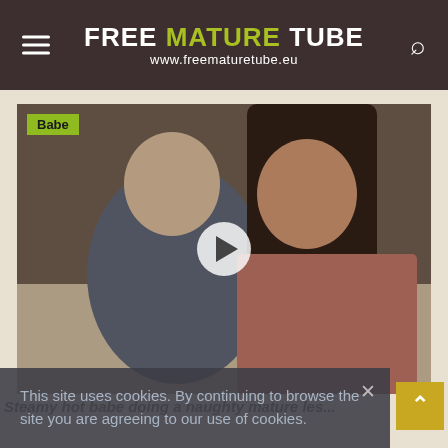FREE MATURE TUBE www.freematuretube.eu
[Figure (screenshot): Video thumbnail showing two women on a couch with a play button overlay and a 'Babe' category badge in the top left corner]
Steamy hot babe doing a naughty mature les...
This site uses cookies. By continuing to browse the site you are agreeing to our use of cookies.